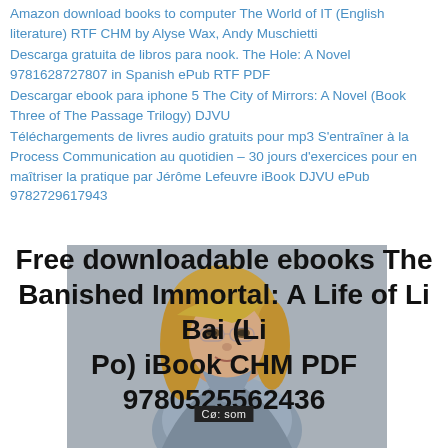Amazon download books to computer The World of IT (English literature) RTF CHM by Alyse Wax, Andy Muschietti
Descarga gratuita de libros para nook. The Hole: A Novel 9781628727807 in Spanish ePub RTF PDF
Descargar ebook para iphone 5 The City of Mirrors: A Novel (Book Three of The Passage Trilogy) DJVU
Téléchargements de livres audio gratuits pour mp3 S'entraîner à la Process Communication au quotidien – 30 jours d'exercices pour en maîtriser la pratique par Jérôme Lefeuvre iBook DJVU ePub 9782729617943
[Figure (photo): Photo of a young woman with long blonde hair, wearing casual clothing, against a gray background. Overlaid with large bold text: 'Free downloadable ebooks The Banished Immortal: A Life of Li Bai (Li Po) iBook CHM PDF 9780525562436']